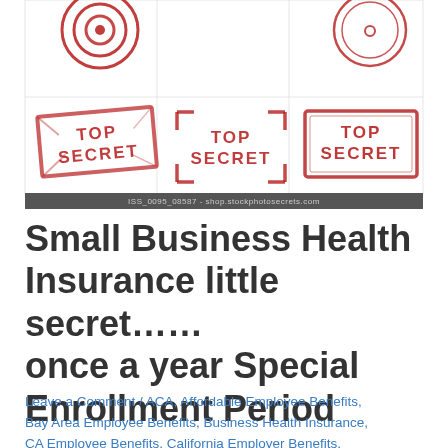[Figure (illustration): Grid of red 'TOP SECRET' rubber stamp images on white background with watermark bar at bottom reading 'ISS_0095_08587 - shop.stockphotosecrets.com']
Small Business Health Insurance little secret…… once a year Special Enrollment Period
Leave a Comment / ACA, Affordable Employee Benefits, Bay Area Employee Benefits, Business Health Insurance, CA Employee Benefits, California Employer Benefits, Employee Benefits, Employee Benefits San Jose,